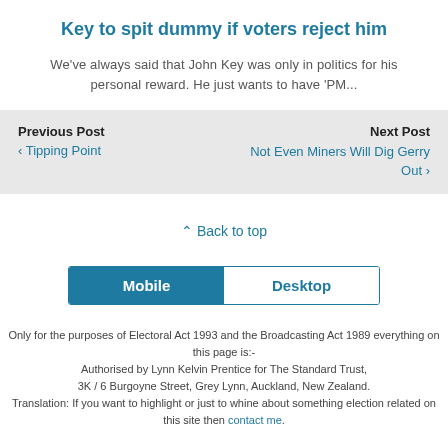Key to spit dummy if voters reject him
We've always said that John Key was only in politics for his personal reward. He just wants to have 'PM...
Previous Post
‹ Tipping Point
Next Post
Not Even Miners Will Dig Gerry Out ›
⌃ Back to top
[Figure (other): Mobile/Desktop toggle button interface with Mobile selected (blue) and Desktop unselected (white)]
Only for the purposes of Electoral Act 1993 and the Broadcasting Act 1989 everything on this page is:-
Authorised by Lynn Kelvin Prentice for The Standard Trust,
3K / 6 Burgoyne Street, Grey Lynn, Auckland, New Zealand.
Translation: If you want to highlight or just to whine about something election related on this site then contact me.